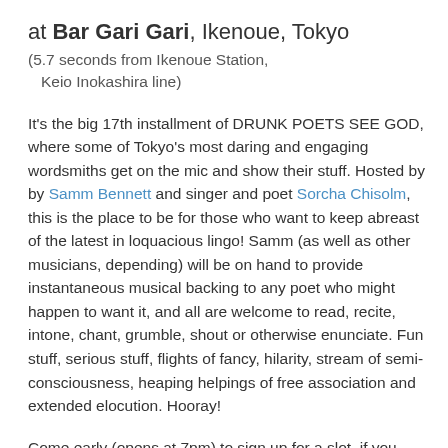at Bar Gari Gari, Ikenoue, Tokyo
(5.7 seconds from Ikenoue Station,
   Keio Inokashira line)
It's the big 17th installment of DRUNK POETS SEE GOD, where some of Tokyo's most daring and engaging wordsmiths get on the mic and show their stuff. Hosted by by Samm Bennett and singer and poet Sorcha Chisolm, this is the place to be for those who want to keep abreast of the latest in loquacious lingo! Samm (as well as other musicians, depending) will be on hand to provide instantaneous musical backing to any poet who might happen to want it, and all are welcome to read, recite, intone, chant, grumble, shout or otherwise enunciate. Fun stuff, serious stuff, flights of fancy, hilarity, stream of semi-consciousness, heaping helpings of free association and extended elocution. Hooray!
Come early (opens at 7pm) to sign up for a slot, if you want to get on the mic and let us hear what you got to say. Otherwise, just roll in for a drink and a listen!  500 yen entry charge, plus 1 drink.